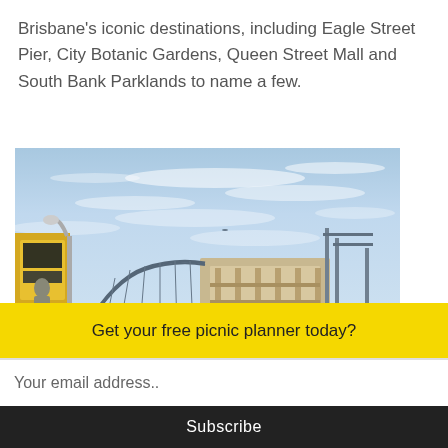Brisbane's iconic destinations, including Eagle Street Pier, City Botanic Gardens, Queen Street Mall and South Bank Parklands to name a few.
[Figure (photo): Outdoor daytime photo of Eagle Street Pier area in Brisbane with Story Bridge visible in the background, a building under construction on a waterfront pier, blue sky with wispy clouds, and a yellow advertising sign on the left.]
Get your free picnic planner today?
Your email address..
Subscribe